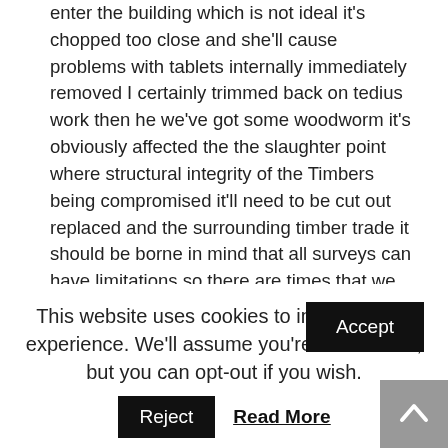enter the building which is not ideal it's chopped too close and she'll cause problems with tablets internally immediately removed I certainly trimmed back on tedius work then he we've got some woodworm it's obviously affected the the slaughter point where structural integrity of the Timbers being compromised it'll need to be cut out replaced and the surrounding timber trade it should be borne in mind that all surveys can have limitations so there are times that we only have access to specific parts of a building you can see there's a vertical crack here where this that loft shot joins the main building there's been some movement between this enough which is caused it to sort of Park company a little bit it's not significant but you can see there's a lot of cracking in the in the render roundabout water I'll just get in there luck like a sponge that'll cause the internal dump penetration inside this needs to
This website uses cookies to improve your experience. We'll assume you're ok with this, but you can opt-out if you wish.
Accept
Reject
Read More